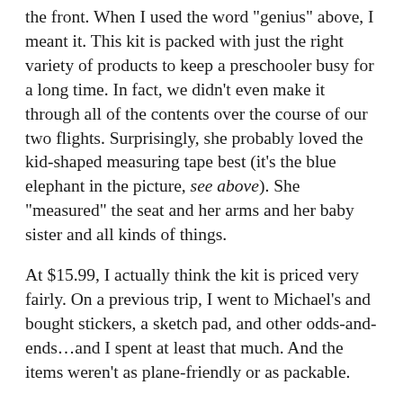the front. When I used the word "genius" above, I meant it. This kit is packed with just the right variety of products to keep a preschooler busy for a long time. In fact, we didn't even make it through all of the contents over the course of our two flights. Surprisingly, she probably loved the kid-shaped measuring tape best (it's the blue elephant in the picture, see above). She "measured" the seat and her arms and her baby sister and all kinds of things.
At $15.99, I actually think the kit is priced very fairly. On a previous trip, I went to Michael's and bought stickers, a sketch pad, and other odds-and-ends…and I spent at least that much. And the items weren't as plane-friendly or as packable.
Needless to say, I think these kits are great for plane rides, road trips, waiting rooms, and any time when sitting "still" is required by a small child. I already have